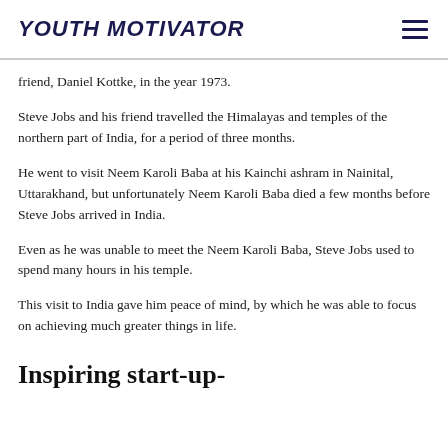YOUTH MOTIVATOR
friend, Daniel Kottke, in the year 1973.
Steve Jobs and his friend travelled the Himalayas and temples of the northern part of India, for a period of three months.
He went to visit Neem Karoli Baba at his Kainchi ashram in Nainital, Uttarakhand, but unfortunately Neem Karoli Baba died a few months before Steve Jobs arrived in India.
Even as he was unable to meet the Neem Karoli Baba, Steve Jobs used to spend many hours in his temple.
This visit to India gave him peace of mind, by which he was able to focus on achieving much greater things in life.
Inspiring start-up-